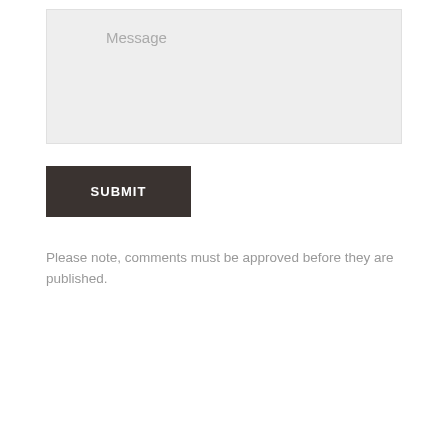[Figure (screenshot): A text area input field with light gray background and placeholder text 'Message']
[Figure (screenshot): A dark brown/charcoal submit button with white bold text 'SUBMIT']
Please note, comments must be approved before they are published.